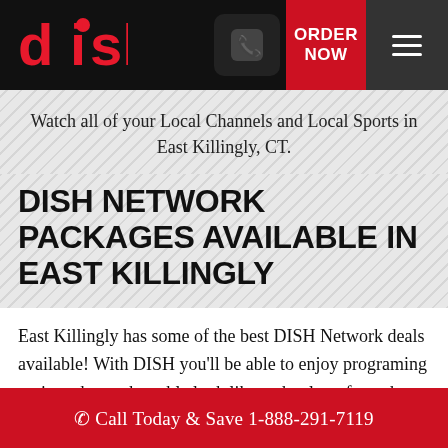dish — ORDER NOW
Watch all of your Local Channels and Local Sports in East Killingly, CT.
DISH NETWORK PACKAGES AVAILABLE IN EAST KILLINGLY
East Killingly has some of the best DISH Network deals available! With DISH you'll be able to enjoy programing options that make cable look like technology from the nineties. DISH brings you the most popular shows, at an affordable price. They even include local East Killingly channels for free! With DISH you won't have to choose
Call Today & Save 1-888-291-7119